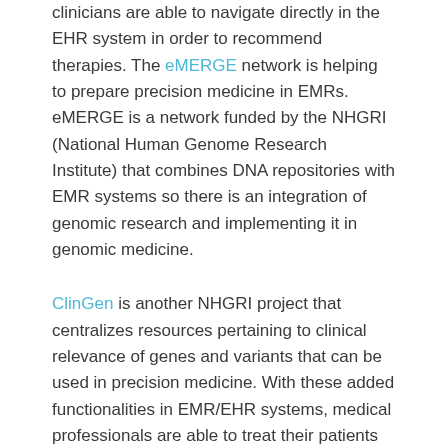clinicians are able to navigate directly in the EHR system in order to recommend therapies. The eMERGE network is helping to prepare precision medicine in EMRs. eMERGE is a network funded by the NHGRI (National Human Genome Research Institute) that combines DNA repositories with EMR systems so there is an integration of genomic research and implementing it in genomic medicine.
ClinGen is another NHGRI project that centralizes resources pertaining to clinical relevance of genes and variants that can be used in precision medicine. With these added functionalities in EMR/EHR systems, medical professionals are able to treat their patients more individualistically.